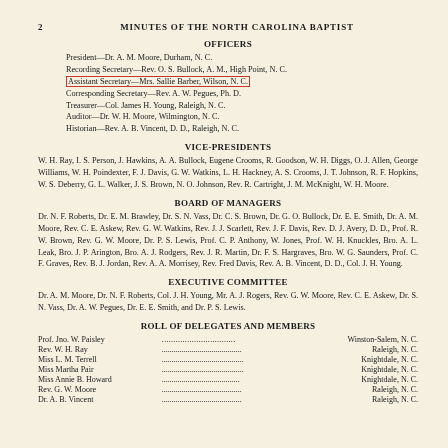2    MINUTES OF THE NORTH CAROLINA BAPTIST
OFFICERS
President—Dr. A. M. Moore, Durham, N. C.
Recording Secretary—Rev. O. S. Bullock, A. M., High Point, N. C.
Assistant Secretary—Mrs. Sallie Barber, Wilson, N. C.
Corresponding Secretary—Rev. A. W. Pegues, Ph. D.
Treasurer—Col. James H. Young, Raleigh, N. C.
Auditor—Dr. W. H. Moore, Wilmington, N. C.
Historian—Rev. A. B. Vincent, D. D., Raleigh, N. C.
VICE-PRESIDENTS
W. H. Ray, I. S. Person, J. Hawkins, A. A. Bullock, Eugene Crooms, R. Goodson, W. H. Diggs, O. J. Allen, George Williams, W. H. Poindexter, F. J. Davis, G. W. Watkins, L. H. Hackney, A. S. Crooms, J. T. Johnson, R. F. Hopkins, W. S. Deberry, G. L. Walker, J. S. Brown, N. O. Johnson, Rev. R. Cartright, J. M. McKnight, W. H. Moore.
BOARD OF MANAGERS
Dr. N. F. Roberts, Dr. E. M. Brawley, Dr. S. N. Vass, Dr. C. S. Brown, Dr. G. O. Bullock, Dr. E. E. Smith, Dr. A. M. Moore, Rev. C. E. Askew, Rev. G. W. Watkins, Rev. J. J. Scarlett, Rev. J. F. Davis, Rev. D. J. Avery, D. D., Prof. R. W. Brown, Rev. G. W. Moore, Dr. P. S. Lewis, Prof. C. P. Anthony, W. Jones, Prof. W. H. Knuckles, Bro. A. L. Leak, Bro. J. P. Arington, Bro. A. J. Rodgers, Rev. J. R. Martin, Dr. F. S. Hargraves, Bro. W. G. Saunders, Prof. C. F. Graves, Rev. B. J. Jordan, Rev. A. A. Morrisey, Rev. Fred Davis, Rev. A. B. Vincent, D. D., Col. J. H. Young.
EXECUTIVE COMMITTEE
Dr. A. M. Moore, Dr. N. F. Roberts, Col. J. H. Young, Mr. A. J. Rogers, Rev. G. W. Moore, Rev. C. E. Askew, Dr. S. N. Vass, Dr. A. W. Pegues, Dr. E. E. Smith, and Dr. P. S. Lewis.
ROLL OF DELEGATES AND MEMBERS
| Name | Location |
| --- | --- |
| Prof. Jno. W. Paisley | Winston-Salem, N. C. |
| Rev. W. H. Ray | Raleigh, N. C. |
| Miss L. M. Terrell | Knightdale, N. C. |
| Miss Martha Pair | Knightdale, N. C. |
| Miss Annie B. Howard | Knightdale, N. C. |
| Rev. G. W. Moore | Raleigh, N. C. |
| Dr. A. B. Vincent | Raleigh, N. C. |